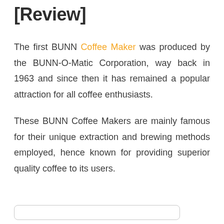[Review]
The first BUNN Coffee Maker was produced by the BUNN-O-Matic Corporation, way back in 1963 and since then it has remained a popular attraction for all coffee enthusiasts.
These BUNN Coffee Makers are mainly famous for their unique extraction and brewing methods employed, hence known for providing superior quality coffee to its users.